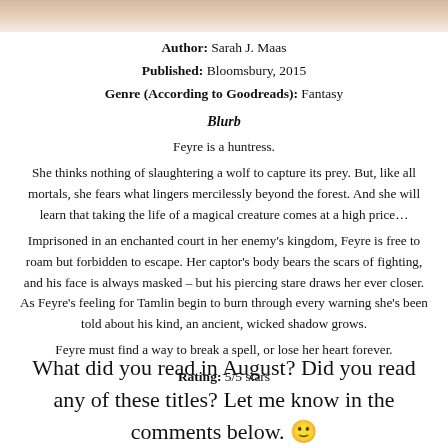[Figure (photo): Top portion of a book cover photo, showing soft warm tones]
Author: Sarah J. Maas
Published: Bloomsbury, 2015
Genre (According to Goodreads): Fantasy
Blurb
Feyre is a huntress.

She thinks nothing of slaughtering a wolf to capture its prey. But, like all mortals, she fears what lingers mercilessly beyond the forest. And she will learn that taking the life of a magical creature comes at a high price...

Imprisoned in an enchanted court in her enemy’s kingdom, Feyre is free to roam but forbidden to escape. Her captor’s body bears the scars of fighting, and his face is always masked – but his piercing stare draws her ever closer. As Feyre’s feeling for Tamlin begin to burn through every warning she’s been told about his kind, an ancient, wicked shadow grows.

Feyre must find a way to break a spell, or lose her heart forever.
Rating: 5/5 stars
What did you read in August? Did you read any of these titles? Let me know in the comments below. 🙂